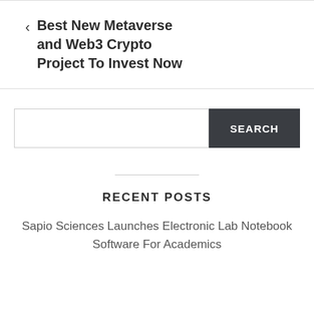< Best New Metaverse and Web3 Crypto Project To Invest Now
SEARCH
RECENT POSTS
Sapio Sciences Launches Electronic Lab Notebook Software For Academics